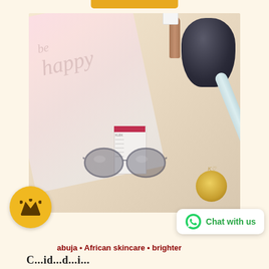[Figure (photo): Flat lay photo of skincare and beauty products including a white 'be happy' tote bag/cloth, a product box with red stripe, a dark glass bottle, a light blue pen/tube, sunglasses, and a candle on a warm beige background]
[Figure (logo): Yellow circular badge with a dark crown icon inside]
[Figure (infographic): White rounded rectangle button with green WhatsApp logo icon and 'Chat with us' text in green]
abuja • African skincare • brighter
C...id...d...i...